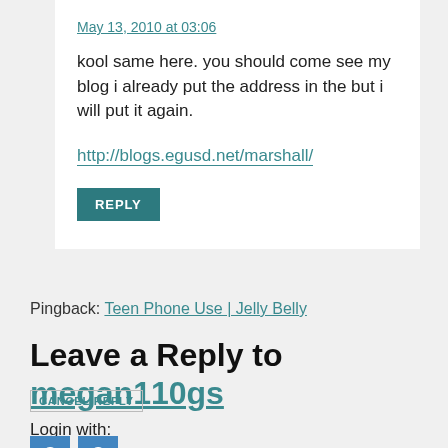May 13, 2010 at 03:06
kool same here. you should come see my blog i already put the address in the but i will put it again.
http://blogs.egusd.net/marshall/
REPLY
Pingback: Teen Phone Use | Jelly Belly
Leave a Reply to megan110gs
CANCEL REPLY
Login with: